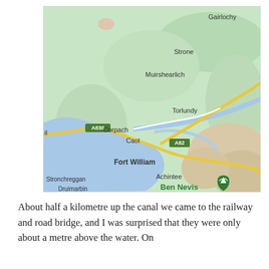[Figure (map): Google Maps screenshot showing the area around Fort William, Scotland, including locations: Gairlochy, Strone, Muirshearlich, Torlundy, Corpach, Caol, Fort William, Achintee, Ben Nevis (with green map pin), Stronchreggan, Druimarbin. Road labels A830 and A82 visible. Blue water bodies (loch/canal) visible on the left side. Terrain shown in green and beige.]
About half a kilometre up the canal we came to the railway and road bridge, and I was surprised that they were only about a metre above the water. On